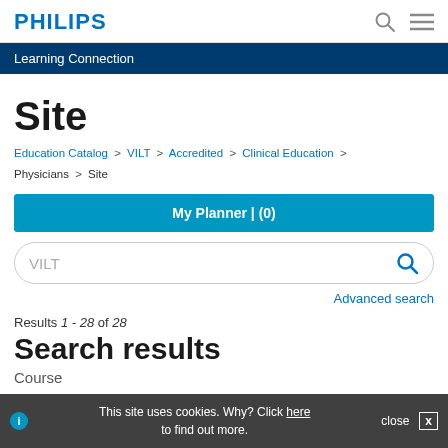PHILIPS
Learning Connection
Site
Education Catalog > VILT > Accredited > Clinical Education > Physicians > Site
My Planner | (0)
VILT
Advanced search
Results 1 - 28 of 28
Search results
Course
This site uses cookies. Why? Click here to find out more.